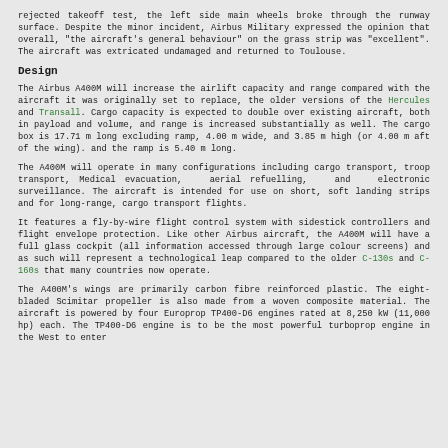rejected takeoff test, the left side main wheels broke through the runway surface. Despite the minor incident, Airbus Military expressed the opinion that overall, "the aircraft's general behaviour" on the grass strip was "excellent". The aircraft was extricated undamaged and returned to Toulouse.
Design
The Airbus A400M will increase the airlift capacity and range compared with the aircraft it was originally set to replace, the older versions of the Hercules and Transall. Cargo capacity is expected to double over existing aircraft, both in payload and volume, and range is increased substantially as well. The cargo box is 17.71 m long excluding ramp, 4.00 m wide, and 3.85 m high (or 4.00 m aft of the wing). and the ramp is 5.40 m long.
The A400M will operate in many configurations including cargo transport, troop transport, Medical evacuation, aerial refuelling, and electronic surveillance. The aircraft is intended for use on short, soft landing strips and for long-range, cargo transport flights.
It features a fly-by-wire flight control system with sidestick controllers and flight envelope protection. Like other Airbus aircraft, the A400M will have a full glass cockpit (all information accessed through large colour screens) and as such will represent a technological leap compared to the older C-130s and C-160s that many countries now operate.
The A400M's wings are primarily carbon fibre reinforced plastic. The eight-bladed Scimitar propeller is also made from a woven composite material. The aircraft is powered by four Europrop TP400-D6 engines rated at 8,250 kW (11,000 hp) each. The TP400-D6 engine is to be the most powerful turboprop engine in the West to enter